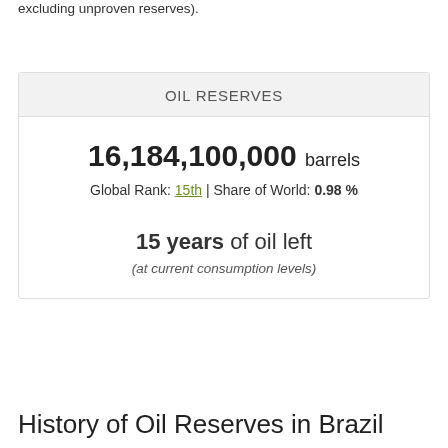excluding unproven reserves).
| OIL RESERVES |
| --- |
| 16,184,100,000 barrels |
| Global Rank: 15th | Share of World: 0.98 % |
| 15 years of oil left |
| (at current consumption levels) |
History of Oil Reserves in Brazil